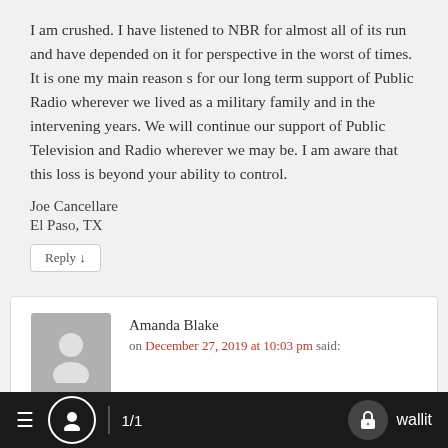I am crushed. I have listened to NBR for almost all of its run and have depended on it for perspective in the worst of times. It is one my main reason s for our long term support of Public Radio wherever we lived as a military family and in the intervening years. We will continue our support of Public Television and Radio wherever we may be. I am aware that this loss is beyond your ability to control.
Joe Cancellare
El Paso, TX
Reply ↓
Amanda Blake
on December 27, 2019 at 10:03 pm said:
What a loss. I've watched it since inception. Really too [bad] they have to fill the time with programming that
≡  👤  1/1  🔒 wallit